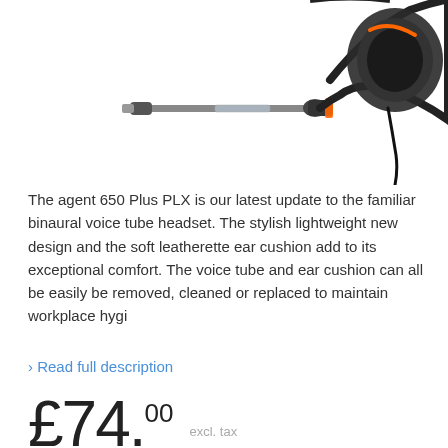[Figure (photo): Headset product photo showing a binaural voice tube headset (agent 650 Plus PLX) with microphone arm, ear cushion, and black/orange accents, partially cropped at top of page]
The agent 650 Plus PLX is our latest update to the familiar binaural voice tube headset. The stylish lightweight new design and the soft leatherette ear cushion add to its exceptional comfort. The voice tube and ear cushion can all be easily be removed, cleaned or replaced to maintain workplace hygi
› Read full description
£74.00 excl. tax